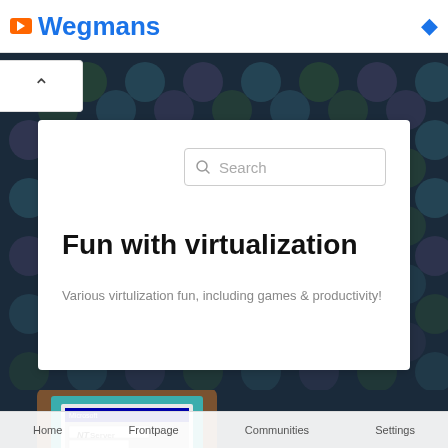Wegmans
Fun with virtualization
Various virtulization fun, including games & productivity!
[Figure (screenshot): Screenshot of Windows NT Server running in a virtual machine, displayed on a wooden frame tablet device]
[Figure (screenshot): Screenshot of a map/game board with green terrain on a blue grid]
Home   Frontpage   Communities   Settings